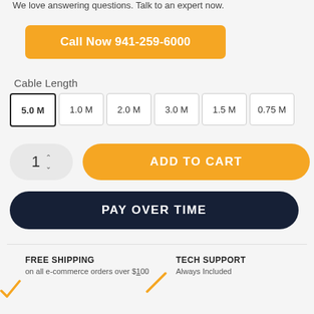We love answering questions. Talk to an expert now.
Call Now 941-259-6000
Cable Length
5.0 M
1.0 M
2.0 M
3.0 M
1.5 M
0.75 M
1
ADD TO CART
PAY OVER TIME
FREE SHIPPING
on all e-commerce orders over $100
TECH SUPPORT
Always Included